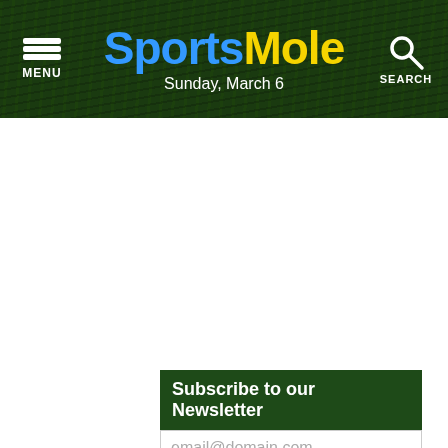Sports Mole — Sunday, March 6
Subscribe to our Newsletter
email@domain.com